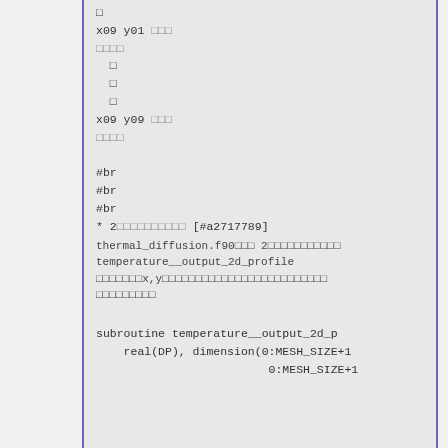code block with x09 y01 and x09 y09 grid references, #br markers, and a bullet point reference [#a2717789]
thermal_diffusion.f90 description mentioning temperature__output_2d_profile subroutine with x,y dimensional parameters
subroutine temperature__output_2d_p
  real(DP), dimension(0:MESH_SIZE+1
                         0:MESH_SIZE+1